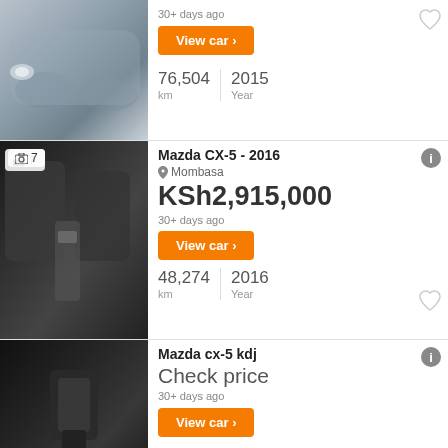[Figure (photo): Silver Mazda CX-5 front quarter view]
30+ days ago
View car
76,504 km | 2015 Year
[Figure (photo): Mazda CX-5 interior showing seats and center console, 7 photos badge]
Mazda CX-5 - 2016
Mombasa
KSh2,915,000
30+ days ago
View car
48,274 km | 2016 Year
[Figure (photo): Mazda CX-5 interior gear shift and center console controls]
Mazda cx-5 kdj
Check price
30+ days ago
View car
Mazda cx-5. 2015 model. 2200cc. Kdj. we do hire